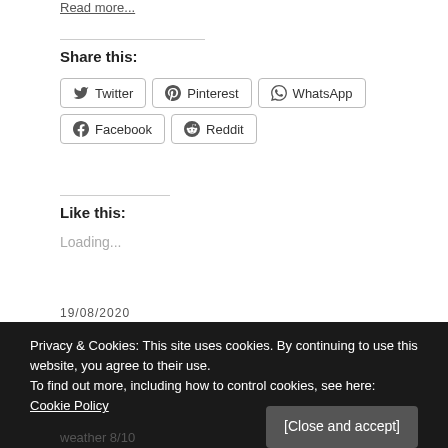Read more...
Share this:
Twitter
Pinterest
WhatsApp
Facebook
Reddit
Like this:
Loading...
19/08/2020
Privacy & Cookies: This site uses cookies. By continuing to use this website, you agree to their use.
To find out more, including how to control cookies, see here: Cookie Policy
[Close and accept]
weather 8/10